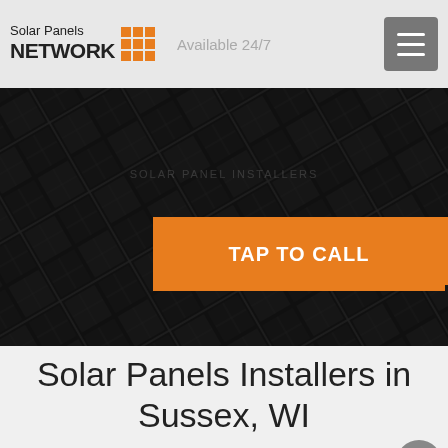Solar Panels NETWORK — Available 24/7
[Figure (photo): Dark solar panels grid closeup, hero background image with orange 'TAP TO CALL' button overlay]
Solar Panels Installers in Sussex, WI
CALL US FREE ON (855) 427-0058